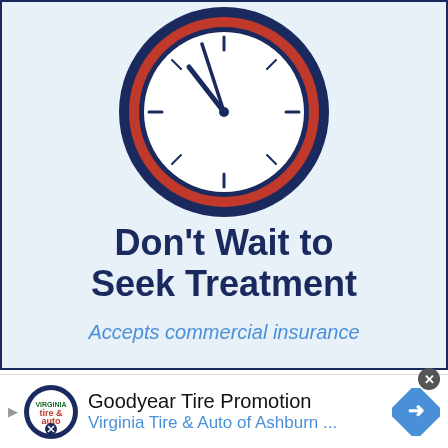[Figure (illustration): Partial view of a clock with dark navy outer ring and orange/red inner ring accent. Clock face is white/light with tick marks and two clock hands visible pointing upper-left direction. Background is light blue.]
Don't Wait to Seek Treatment
Accepts commercial insurance
[Figure (other): Salmon/coral colored button reading LEARN MORE in white bold uppercase letters]
[Figure (other): Close/dismiss button (dark circle with X) in top-right of bottom ad section]
Goodyear Tire Promotion
Virginia Tire & Auto of Ashburn ...